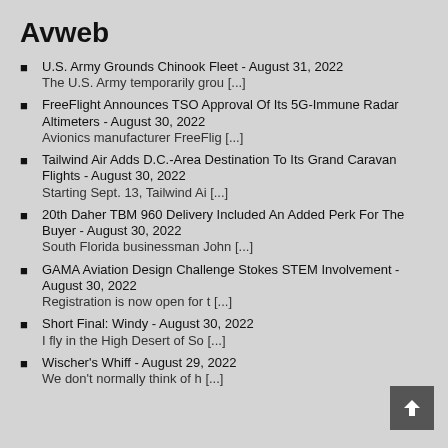Avweb
U.S. Army Grounds Chinook Fleet - August 31, 2022
The U.S. Army temporarily grou [...]
FreeFlight Announces TSO Approval Of Its 5G-Immune Radar Altimeters - August 30, 2022
Avionics manufacturer FreeFlig [...]
Tailwind Air Adds D.C.-Area Destination To Its Grand Caravan Flights - August 30, 2022
Starting Sept. 13, Tailwind Ai [...]
20th Daher TBM 960 Delivery Included An Added Perk For The Buyer - August 30, 2022
South Florida businessman John [...]
GAMA Aviation Design Challenge Stokes STEM Involvement - August 30, 2022
Registration is now open for t [...]
Short Final: Windy - August 30, 2022
I fly in the High Desert of So [...]
Wischer's Whiff - August 29, 2022
We don't normally think of h [...]